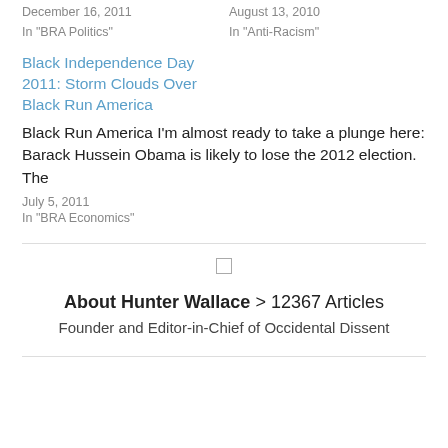December 16, 2011
In "BRA Politics"
August 13, 2010
In "Anti-Racism"
Black Independence Day 2011: Storm Clouds Over Black Run America
Black Run America I'm almost ready to take a plunge here: Barack Hussein Obama is likely to lose the 2012 election. The
July 5, 2011
In "BRA Economics"
About Hunter Wallace > 12367 Articles
Founder and Editor-in-Chief of Occidental Dissent